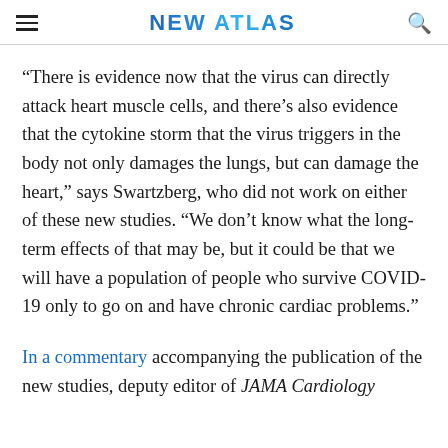NEW ATLAS
“There is evidence now that the virus can directly attack heart muscle cells, and there’s also evidence that the cytokine storm that the virus triggers in the body not only damages the lungs, but can damage the heart,” says Swartzberg, who did not work on either of these new studies. “We don’t know what the long-term effects of that may be, but it could be that we will have a population of people who survive COVID-19 only to go on and have chronic cardiac problems.”
In a commentary accompanying the publication of the new studies, deputy editor of JAMA Cardiology...